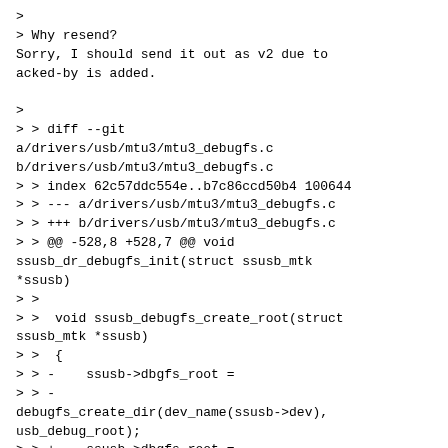>
> Why resend?
Sorry, I should send it out as v2 due to
acked-by is added.

>
> > diff --git
a/drivers/usb/mtu3/mtu3_debugfs.c
b/drivers/usb/mtu3/mtu3_debugfs.c
> > index 62c57ddc554e..b7c86ccd50b4 100644
> > --- a/drivers/usb/mtu3/mtu3_debugfs.c
> > +++ b/drivers/usb/mtu3/mtu3_debugfs.c
> > @@ -528,8 +528,7 @@ void
ssusb_dr_debugfs_init(struct ssusb_mtk
*ssusb)
> >
> >  void ssusb_debugfs_create_root(struct
ssusb_mtk *ssusb)
> >  {
> > -    ssusb->dbgfs_root =
> > -
debugfs_create_dir(dev_name(ssusb->dev),
usb_debug_root);
> > +    ssusb->dbgfs_root =
debugfs_create_dir(dev_name(ssusb->dev),
NULL);
>
> This moves the directory to a new location
no matter what the
> configuration is. What's wrong with where